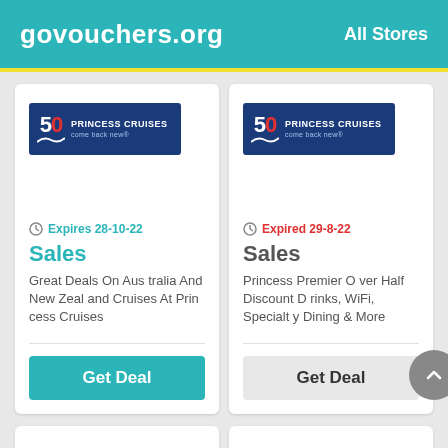govouchers.org   All Stores
[Figure (logo): Princess Cruises 50th anniversary logo - dark blue background with '50' and wave motif]
Expires 28-10-22
Sales
Great Deals On Australia And New Zealand Cruises At Princess Cruises
Get Deal
[Figure (logo): Princess Cruises 50th anniversary logo - dark blue background with '50' and wave motif]
Expired 29-8-22
Sales
Princess Premier Over Half Discount Drinks, WiFi, Specialty Dining & More
Get Deal